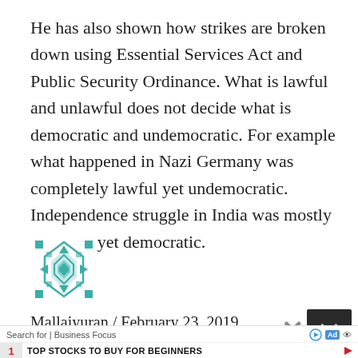He has also shown how strikes are broken down using Essential Services Act and Public Security Ordinance. What is lawful and unlawful does not decide what is democratic and undemocratic. For example what happened in Nazi Germany was completely lawful yet undemocratic. Independence struggle in India was mostly unlawful yet democratic.
[Figure (illustration): Teal/green geometric decorative avatar icon with diamond and cross pattern]
Mallaiyuran / February 23, 2019
[Figure (other): Close button (X) and scroll-up arrows button overlay on right side]
Search for | Business Focus [Ad]
1  TOP STOCKS TO BUY FOR BEGINNERS